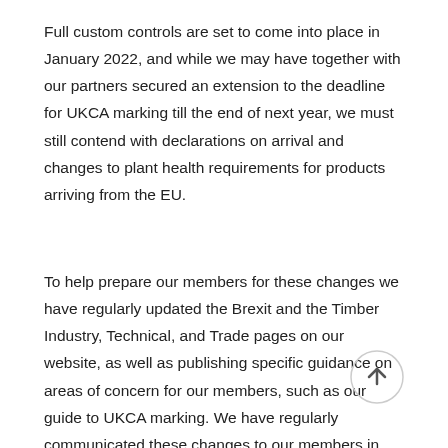Full custom controls are set to come into place in January 2022, and while we may have together with our partners secured an extension to the deadline for UKCA marking till the end of next year, we must still contend with declarations on arrival and changes to plant health requirements for products arriving from the EU.
To help prepare our members for these changes we have regularly updated the Brexit and the Timber Industry, Technical, and Trade pages on our website, as well as publishing specific guidance on areas of concern for our members, such as our guide to UKCA marking. We have regularly communicated these changes to our members in our weekly Business Update. With the likes of the Building Safety Bill still finding its way through Parliament